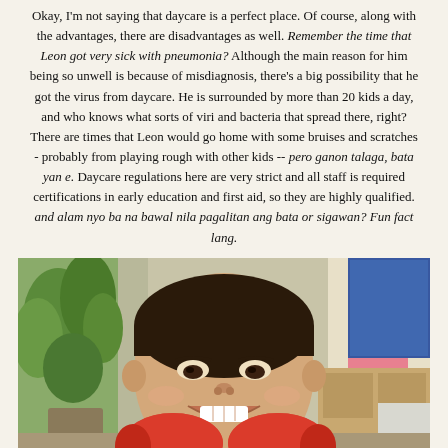Okay, I'm not saying that daycare is a perfect place. Of course, along with the advantages, there are disadvantages as well. Remember the time that Leon got very sick with pneumonia? Although the main reason for him being so unwell is because of misdiagnosis, there's a big possibility that he got the virus from daycare. He is surrounded by more than 20 kids a day, and who knows what sorts of viri and bacteria that spread there, right? There are times that Leon would go home with some bruises and scratches - probably from playing rough with other kids -- pero ganon talaga, bata yan e. Daycare regulations here are very strict and all staff is required certifications in early education and first aid, so they are highly qualified. and alam nyo ba na bawal nila pagalitan ang bata or sigawan? Fun fact lang.
[Figure (photo): A young Asian boy smiling broadly at the camera, holding red cup/bowl shapes near his chin. Background shows a classroom setting with plants, shelves, and furniture.]